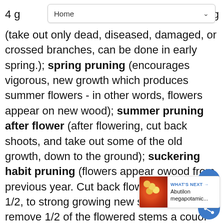Home
4 g...ng (take out only dead, diseased, damaged, or crossed branches, can be done in early spring.); spring pruning (encourages vigorous, new growth which produces summer flowers - in other words, flowers appear on new wood); summer pruning after flower (after flowering, cut back shoots, and take out some of the old growth, down to the ground); suckering habit pruning (flowers appear on wood from previous year. Cut back flowered stems by 1/2, to strong growing new shoots and remove 1/2 of the flowered stems a couple of inches from the ground) Always remove dead, damaged or diseased wood first, no matter what type of pruning you are doing.